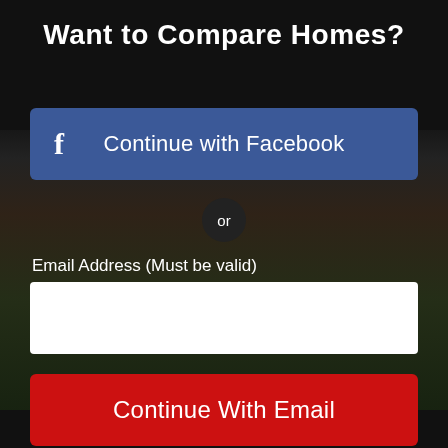Want to Compare Homes?
Continue with Facebook
or
Email Address (Must be valid)
Continue With Email
Already signed up? Log in
1 of 41
In agreement with our Terms of Use and Privacy Policy.
Take a Tour
Ask A Question
Disclaimer: By entering your information and submitting this form, you agree to our Terms of Use and Privacy Policy and that you may be contacted